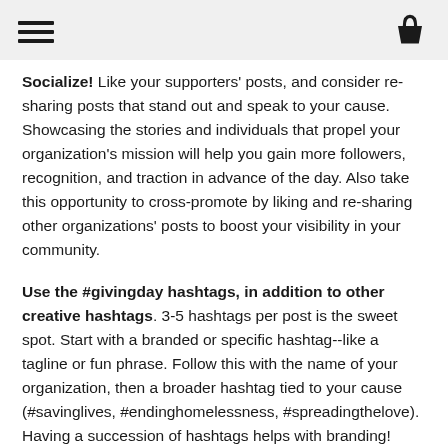[hamburger menu icon] [basket icon]
Socialize! Like your supporters' posts, and consider re-sharing posts that stand out and speak to your cause. Showcasing the stories and individuals that propel your organization's mission will help you gain more followers, recognition, and traction in advance of the day. Also take this opportunity to cross-promote by liking and re-sharing other organizations' posts to boost your visibility in your community.
Use the #givingday hashtags, in addition to other creative hashtags. 3-5 hashtags per post is the sweet spot. Start with a branded or specific hashtag--like a tagline or fun phrase. Follow this with the name of your organization, then a broader hashtag tied to your cause (#savinglives, #endinghomelessness, #spreadingthelove). Having a succession of hashtags helps with branding!
Create a regular schedule for posting. We recommend posting at least 2-3 times per week to stay in your supporters feeds! If you integrate your Instagram posts with Facebook, you'll want to